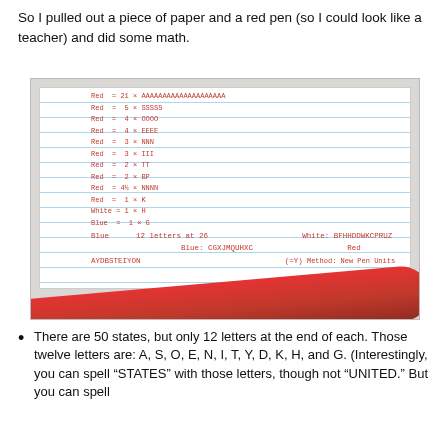So I pulled out a piece of paper and a red pen (so I could look like a teacher) and did some math.
[Figure (photo): A photo of lined notebook paper with handwritten math/calculations in red ink, showing color letter counts and combinations. A red ballpoint pen rests on top of the paper.]
There are 50 states, but only 12 letters at the end of each. Those twelve letters are: A, S, O, E, N, I, T, Y, D, K, H, and G. (Interestingly, you can spell “STATES” with those letters, though not “UNITED.” But you can spell